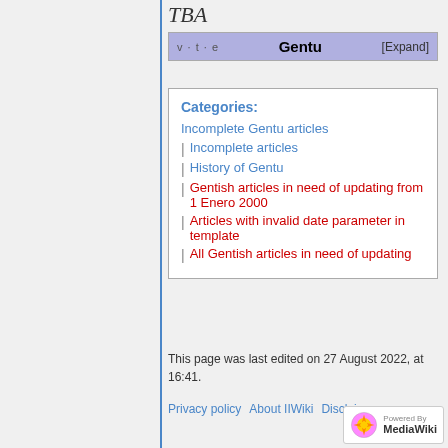TBA
v · t · e  Gentu  [Expand]
Categories:
Incomplete Gentu articles
Incomplete articles
History of Gentu
Gentish articles in need of updating from 1 Enero 2000
Articles with invalid date parameter in template
All Gentish articles in need of updating
This page was last edited on 27 August 2022, at 16:41.
Privacy policy  About IIWiki  Disclaimers